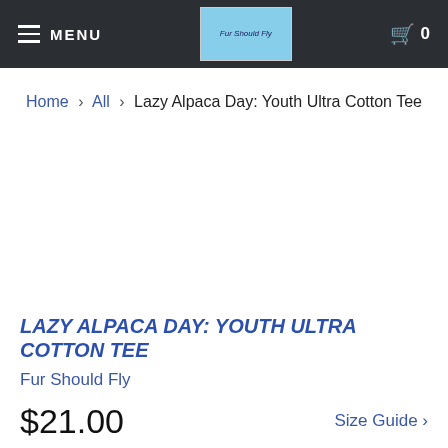MENU | Fur Should Fly | 🛒 0
Home › All › Lazy Alpaca Day: Youth Ultra Cotton Tee
[Figure (photo): Product image area (blank/white) for Lazy Alpaca Day Youth Ultra Cotton Tee]
LAZY ALPACA DAY: YOUTH ULTRA COTTON TEE
Fur Should Fly
$21.00    Size Guide ›